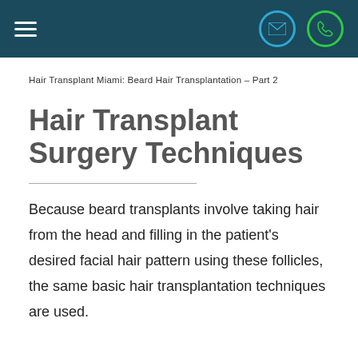Navigation bar with hamburger menu, email icon, and phone icon
Hair Transplant Miami: Beard Hair Transplantation – Part 2
Hair Transplant Surgery Techniques
Because beard transplants involve taking hair from the head and filling in the patient's desired facial hair pattern using these follicles, the same basic hair transplantation techniques are used.